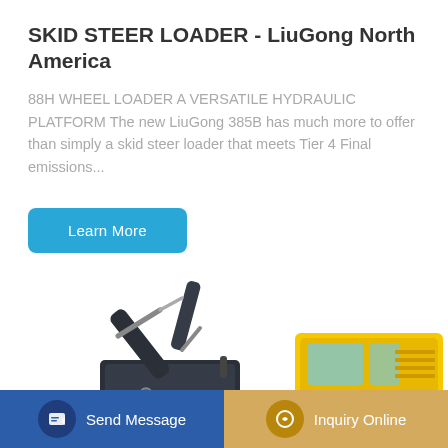SKID STEER LOADER - LiuGong North America
88H WHEEL LOADER A VERSATILE HYDRAULIC PLATFORM The new LiuGong 385B has much more to offer than simply a skid steer loader that meets Tier 4 Final emissions...
[Figure (other): Blue 'Learn More' button]
[Figure (photo): Hyundai excavator with yellow cab and dark grey arm, shown on white background]
[Figure (other): Bottom bar with 'Send Message' button (blue, left) and 'Inquiry Online' button (gold, right), each with circular icon]